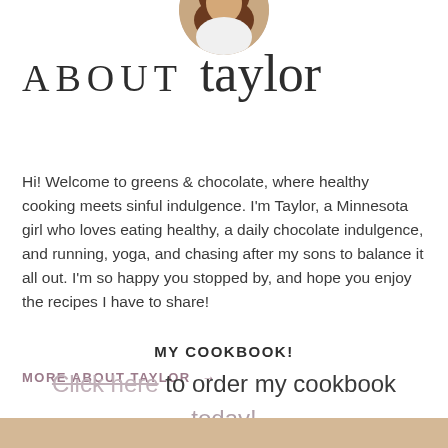[Figure (photo): Circular cropped portrait photo of Taylor, a woman with brown hair, partially visible at the top of the page]
ABOUT taylor
Hi! Welcome to greens & chocolate, where healthy cooking meets sinful indulgence. I'm Taylor, a Minnesota girl who loves eating healthy, a daily chocolate indulgence, and running, yoga, and chasing after my sons to balance it all out. I'm so happy you stopped by, and hope you enjoy the recipes I have to share!
MORE ABOUT TAYLOR →
MY COOKBOOK!
Click here to order my cookbook today!